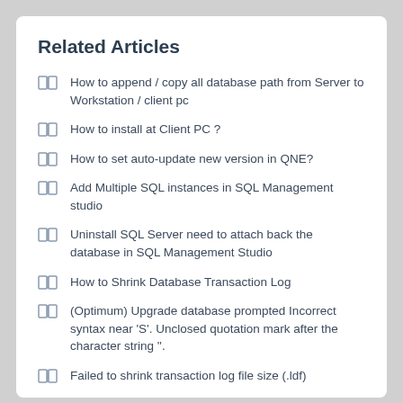Related Articles
How to append / copy all database path from Server to Workstation / client pc
How to install at Client PC ?
How to set auto-update new version in QNE?
Add Multiple SQL instances in SQL Management studio
Uninstall SQL Server need to attach back the database in SQL Management Studio
How to Shrink Database Transaction Log
(Optimum) Upgrade database prompted Incorrect syntax near 'S'. Unclosed quotation mark after the character string ''.
Failed to shrink transaction log file size (.ldf)
How to filter all non - tally transactions